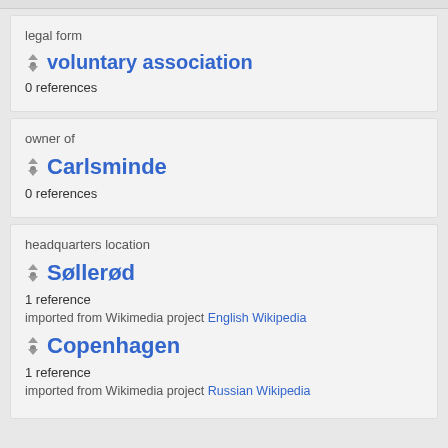legal form
voluntary association
0 references
owner of
Carlsminde
0 references
headquarters location
Søllerød
1 reference
imported from Wikimedia project English Wikipedia
Copenhagen
1 reference
imported from Wikimedia project Russian Wikipedia